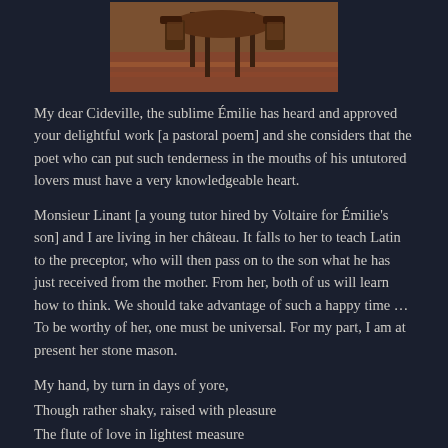[Figure (photo): Photograph of chairs and a table on a patterned rug, likely inside a historic chateau or room.]
My dear Cideville, the sublime Émilie has heard and approved your delightful work [a pastoral poem] and she considers that the poet who can put such tenderness in the mouths of his untutored lovers must have a very knowledgeable heart.
Monsieur Linant [a young tutor hired by Voltaire for Émilie's son] and I are living in her château. It falls to her to teach Latin to the preceptor, who will then pass on to the son what he has just received from the mother. From her, both of us will learn how to think. We should take advantage of such a happy time … To be worthy of her, one must be universal. For my part, I am at present her stone mason.
My hand, by turn in days of yore,
Though rather shaky, raised with pleasure
The flute of love in lightest measure
Or else the trumpet sound of war …
These days I've roundels to be made: